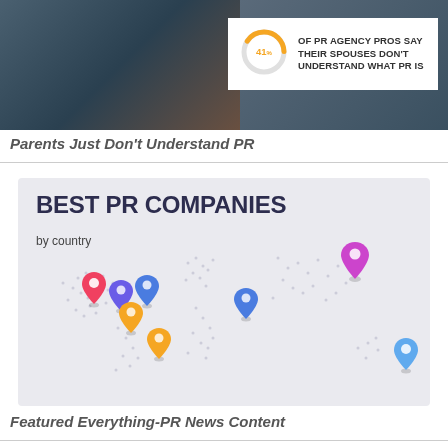[Figure (infographic): Top section showing a photo of people at a desk overlaid with a white stat box showing a donut chart with '41%' and text 'OF PR AGENCY PROS SAY THEIR SPOUSES DON'T UNDERSTAND WHAT PR IS']
Parents Just Don't Understand PR
[Figure (map): Infographic titled 'BEST PR COMPANIES by country' showing a stylized world map with colorful location pins (pink, purple, blue, orange) marking various countries]
Featured Everything-PR News Content